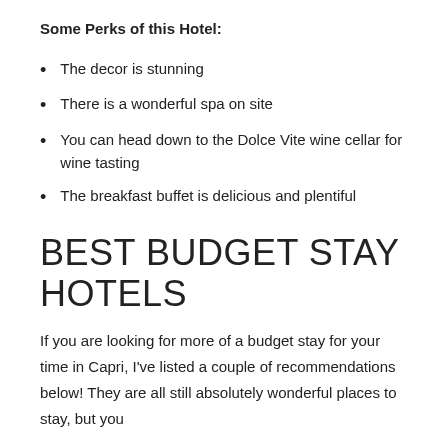Some Perks of this Hotel:
The decor is stunning
There is a wonderful spa on site
You can head down to the Dolce Vite wine cellar for wine tasting
The breakfast buffet is delicious and plentiful
BEST BUDGET STAY HOTELS
If you are looking for more of a budget stay for your time in Capri, I've listed a couple of recommendations below! They are all still absolutely wonderful places to stay, but you